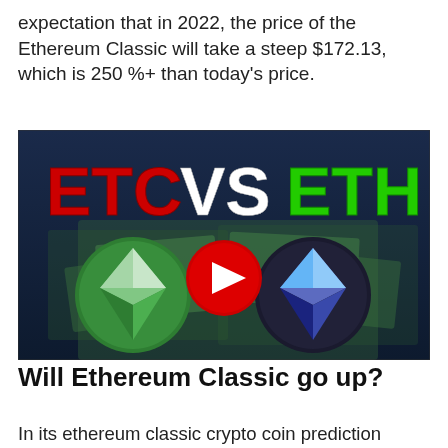expectation that in 2022, the price of the Ethereum Classic will take a steep $172.13, which is 250 %+ than today's price.
[Figure (screenshot): YouTube video thumbnail showing 'ETC vs ETH' with ETC in red text, VS in white, ETH in green text, with Ethereum Classic green coin logo on left and Ethereum blue coin logo on right, both on a background of US dollar bills. A red YouTube play button is centered on the image.]
Will Ethereum Classic go up?
In its ethereum classic crypto coin prediction DigitalCoin suggested the ETC price will